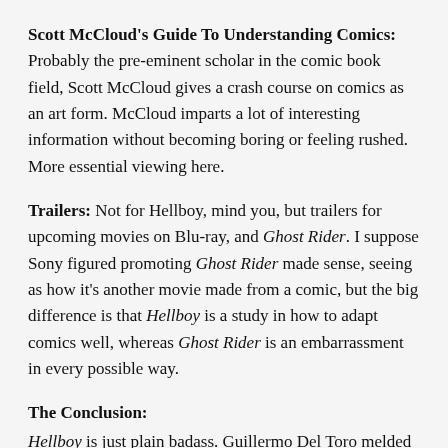Scott McCloud's Guide To Understanding Comics: Probably the pre-eminent scholar in the comic book field, Scott McCloud gives a crash course on comics as an art form. McCloud imparts a lot of interesting information without becoming boring or feeling rushed. More essential viewing here.
Trailers: Not for Hellboy, mind you, but trailers for upcoming movies on Blu-ray, and Ghost Rider. I suppose Sony figured promoting Ghost Rider made sense, seeing as how it's another movie made from a comic, but the big difference is that Hellboy is a study in how to adapt comics well, whereas Ghost Rider is an embarrassment in every possible way.
The Conclusion:
Hellboy is just plain badass. Guillermo Del Toro melded his cinematic style with Mike Mignola's unique mythology to create a wholly enjoyable thrill ride. Ron Perlman IS Hellboy, and the rest of the cast support him ably. This Blu-ray disc boasts very impressive picture and sound. Sadly, not all of the supplements from the Se...